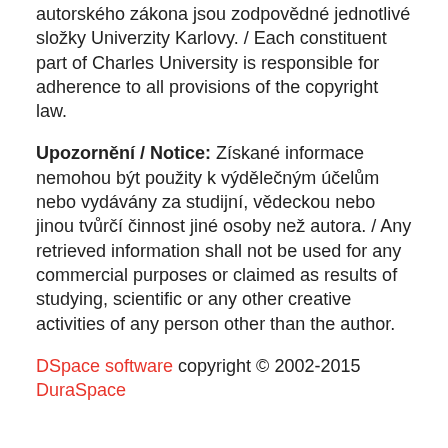autorského zákona jsou zodpovědné jednotlivé složky Univerzity Karlovy. / Each constituent part of Charles University is responsible for adherence to all provisions of the copyright law.
Upozornění / Notice: Získané informace nemohou být použity k výdělečným účelům nebo vydávány za studijní, vědeckou nebo jinou tvůrčí činnost jiné osoby než autora. / Any retrieved information shall not be used for any commercial purposes or claimed as results of studying, scientific or any other creative activities of any person other than the author.
DSpace software copyright © 2002-2015 DuraSpace